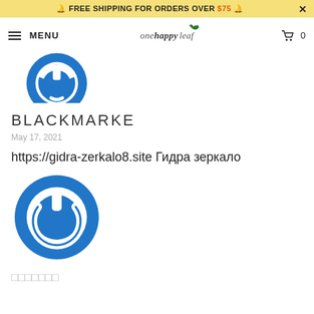🔔 FREE SHIPPING FOR ORDERS OVER $75 🔔
≡ MENU | onehappyleaf logo | 🛒 0
[Figure (logo): Blue circular power button logo, top (partially cropped)]
BLACKMARKE
May 17, 2021
https://gidra-zerkalo8.site Гидра зеркало
[Figure (logo): Blue circular power button logo, full version]
□□□□□□□